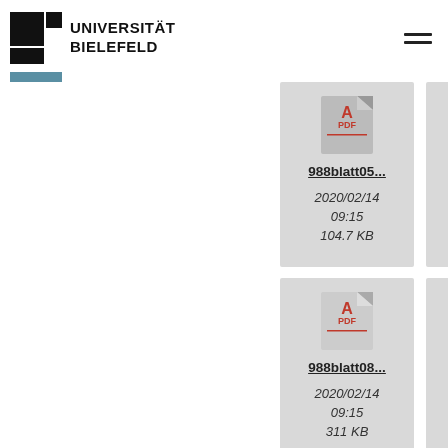[Figure (logo): Universität Bielefeld logo with black square and text]
[Figure (screenshot): File listing grid showing PDF file cards: 988blatt05 (2020/02/14 09:15, 104.7 KB), 988blatt06 (2020/02/14 09:15, 118.8 KB), 988blatt0x (2020/02/14 09:1x, 95 K[B]), 988blatt08 (2020/02/14 09:15, 311 KB), 988blatt09 (2020/02/14 09:15, 116.6 KB), 988blatt0x (2020/02/14 09:1x, 107.2[KB])]